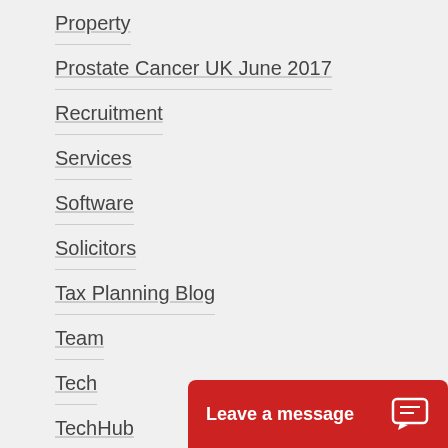Property
Prostate Cancer UK June 2017
Recruitment
Services
Software
Solicitors
Tax Planning Blog
Team
Tech
TechHub
Testimonials
Tips
Travel
Uncategorized
[Figure (other): Live chat widget button with text 'Leave a message' and chat icon on red background]